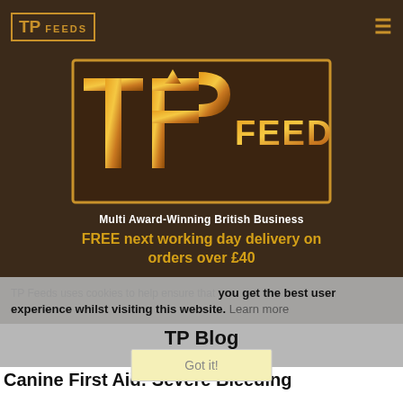[Figure (logo): TP Feeds small logo in navigation bar, gold text with border]
[Figure (logo): Large TP Feeds logo with gold gradient text on dark brown background]
Multi Award-Winning British Business
FREE next working day delivery on orders over £40
TP Feeds uses cookies to help ensure that you get the best user experience whilst visiting this website.  Learn more
TP Blog
Got it!
Canine First Aid: Severe Bleeding